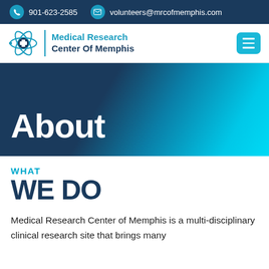901-623-2585  volunteers@mrcofmemphis.com
[Figure (logo): Medical Research Center Of Memphis logo with atom/medical cross icon]
About
WHAT WE DO
Medical Research Center of Memphis is a multi-disciplinary clinical research site that brings many